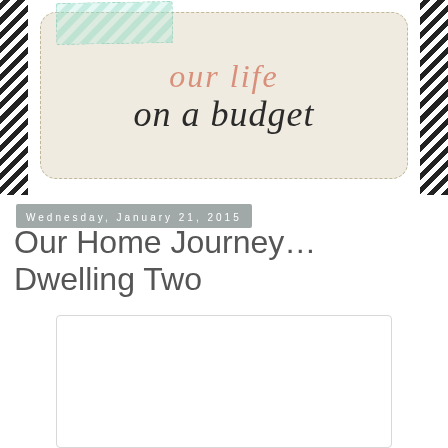our life on a budget
Wednesday, January 21, 2015
Our Home Journey… Dwelling Two
[Figure (photo): White/blank photo placeholder box]